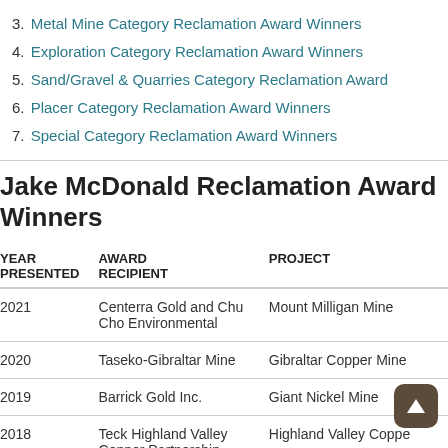3. Metal Mine Category Reclamation Award Winners
4. Exploration Category Reclamation Award Winners
5. Sand/Gravel & Quarries Category Reclamation Award
6. Placer Category Reclamation Award Winners
7. Special Category Reclamation Award Winners
Jake McDonald Reclamation Award Winners
| YEAR PRESENTED | AWARD RECIPIENT | PROJECT |
| --- | --- | --- |
| 2021 | Centerra Gold and Chu Cho Environmental | Mount Milligan Mine |
| 2020 | Taseko-Gibraltar Mine | Gibraltar Copper Mine |
| 2019 | Barrick Gold Inc. | Giant Nickel Mine |
| 2018 | Teck Highland Valley Copper Partnership | Highland Valley Copper |